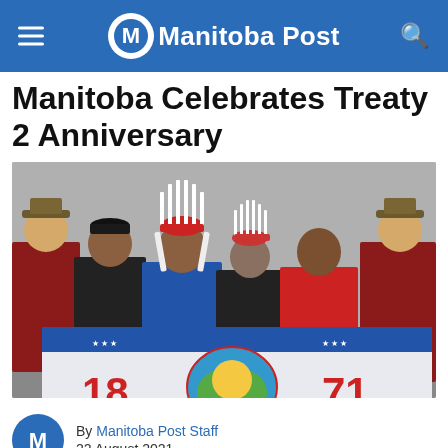Manitoba Post
Manitoba Celebrates Treaty 2 Anniversary
[Figure (photo): Group of people holding a banner reading '1871' with a Treaty 2 emblem. Two RCMP officers in red serge on the right and left, Indigenous leaders in the center including one wearing a traditional headdress.]
By Manitoba Post Staff
22 August 2021